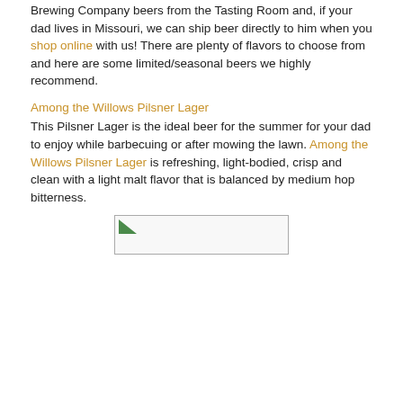Brewing Company beers from the Tasting Room and, if your dad lives in Missouri, we can ship beer directly to him when you shop online with us! There are plenty of flavors to choose from and here are some limited/seasonal beers we highly recommend.
Among the Willows Pilsner Lager
This Pilsner Lager is the ideal beer for the summer for your dad to enjoy while barbecuing or after mowing the lawn. Among the Willows Pilsner Lager is refreshing, light-bodied, crisp and clean with a light malt flavor that is balanced by medium hop bitterness.
[Figure (photo): A partially loaded image placeholder showing a broken image icon]